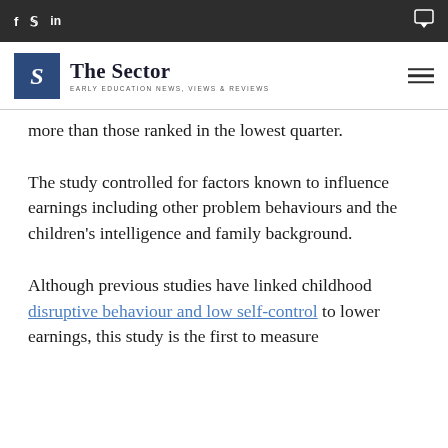f  y  in  [comment icon] | The Sector — EARLY EDUCATION NEWS, VIEWS & REVIEWS
more than those ranked in the lowest quarter.
The study controlled for factors known to influence earnings including other problem behaviours and the children's intelligence and family background.
Although previous studies have linked childhood disruptive behaviour and low self-control to lower earnings, this study is the first to measure